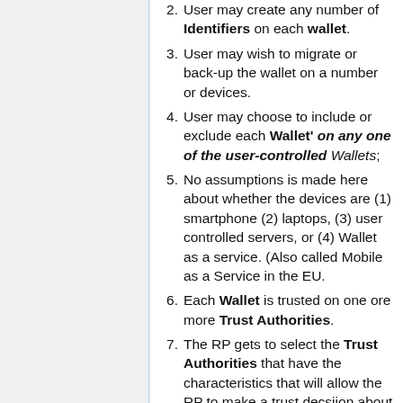2. User may create any number of Identifiers on each wallet.
3. User may wish to migrate or back-up the wallet on a number or devices.
4. User may choose to include or exclude each Wallet' on any one of the user-controlled Wallets;
5. No assumptions is made here about whether the devices are (1) smartphone (2) laptops, (3) user controlled servers, or (4) Wallet as a service. (Also called Mobile as a Service in the EU.
6. Each Wallet is trusted on one ore more Trust Authorities.
7. The RP gets to select the Trust Authorities that have the characteristics that will allow the RP to make a trust decsiion about